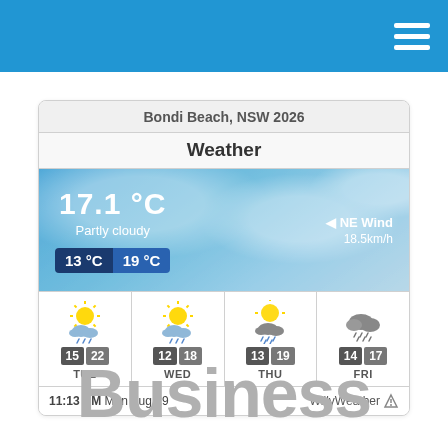[Figure (screenshot): Blue top navigation bar with hamburger menu icon on the right]
[Figure (screenshot): Weather widget card showing Bondi Beach NSW 2026 weather: 17.1°C, Partly cloudy, NE Wind 18.5km/h, low 13°C high 19°C, with 4-day forecast for TUE (15/22), WED (12/18), THU (13/19), FRI (14/17). Timestamp: 11:13 AM Mon Aug 29. Source: WillyWeather]
Business